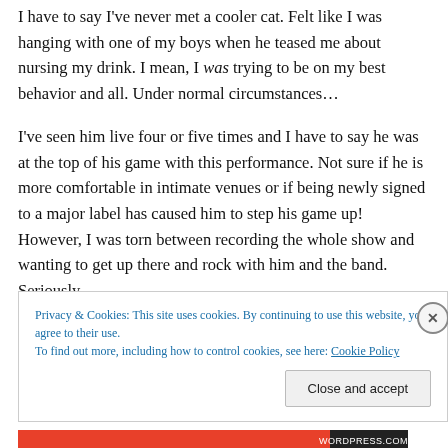I have to say I've never met a cooler cat. Felt like I was hanging with one of my boys when he teased me about nursing my drink. I mean, I was trying to be on my best behavior and all. Under normal circumstances…
I've seen him live four or five times and I have to say he was at the top of his game with this performance. Not sure if he is more comfortable in intimate venues or if being newly signed to a major label has caused him to step his game up! However, I was torn between recording the whole show and wanting to get up there and rock with him and the band. Seriously.
Privacy & Cookies: This site uses cookies. By continuing to use this website, you agree to their use.
To find out more, including how to control cookies, see here: Cookie Policy